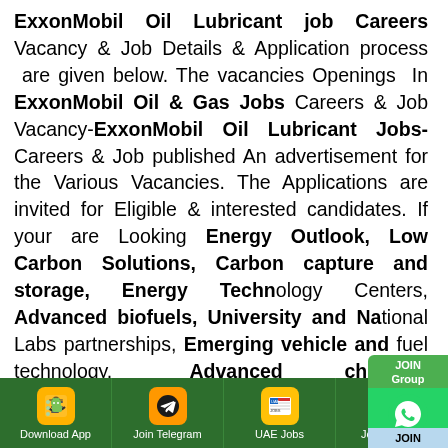ExxonMobil Oil Lubricant job Careers Vacancy & Job Details & Application process are given below. The vacancies Openings In ExxonMobil Oil & Gas Jobs Careers & Job Vacancy-ExxonMobil Oil Lubricant Jobs- Careers & Job published An advertisement for the Various Vacancies. The Applications are invited for Eligible & interested candidates. If you are Looking Energy Outlook, Low Carbon Solutions, Carbon capture and storage, Energy Technology Centers, Advanced biofuels, University and National Labs partnerships, Emerging vehicle and fuel technology, Advanced chemical products, Innovating Energy Solutions: R&D Highlights, clean technology Job or such a kind of job Career you can apply through the given Email Address. The job location for this job will be | WORLDWIDE | and Other Countries. Also Note that the jobs is Full
[Figure (other): WhatsApp JOIN Group button overlay on right side]
[Figure (other): Telegram JOIN button overlay on right side]
[Figure (other): Bottom navigation bar with Download App, Join Telegram, UAE Jobs, Jobs in India buttons on green background]